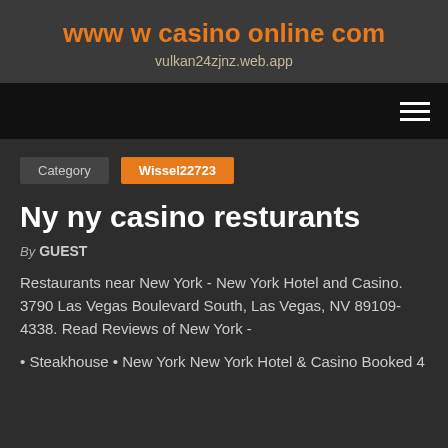www w casino online com
vulkan24zjnz.web.app
Category   Wissel22723
Ny ny casino resturants
By GUEST
Restaurants near New York - New York Hotel and Casino. 3790 Las Vegas Boulevard South, Las Vegas, NV 89109-4338. Read Reviews of New York -
• Steakhouse • New York New York Hotel & Casino Booked 4